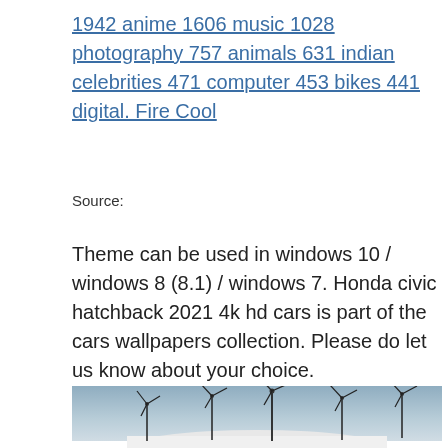1942 anime 1606 music 1028 photography 757 animals 631 indian celebrities 471 computer 453 bikes 441 digital. Fire Cool
Source:
Theme can be used in windows 10 / windows 8 (8.1) / windows 7. Honda civic hatchback 2021 4k hd cars is part of the cars wallpapers collection. Please do let us know about your choice.
[Figure (photo): Photograph showing multiple wind turbines against a pale sky, with what appears to be the front hood of a white car visible at the bottom of the image.]